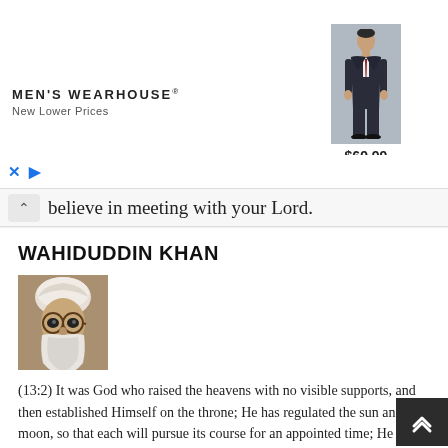[Figure (other): Men's Wearhouse advertisement banner with logo, tagline 'New Lower Prices', a man in a dark suit, and price $69.99]
believe in meeting with your Lord.
WAHIDUDDIN KHAN
[Figure (photo): Photo of Wahiduddin Khan, an elderly man wearing a white turban and glasses with a white beard]
(13:2) It was God who raised the heavens with no visible supports, and then established Himself on the throne; He has regulated the sun and the moon, so that each will pursue its course for an appointed time; He ordains all things and makes plain His revelations, so that you may be certain of meeting your Lord;